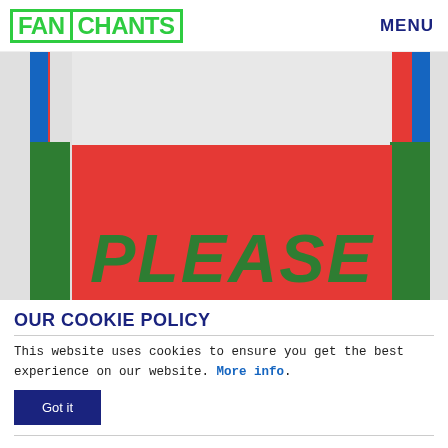FANCHANTS | MENU
[Figure (illustration): FanChants website screenshot showing vertical colored strips (red, blue, green) on left and right sides against a grey background, with a large red block in the lower portion displaying the word PLEASE in large green italic bold text.]
OUR COOKIE POLICY
This website uses cookies to ensure you get the best experience on our website. More info.
Got it